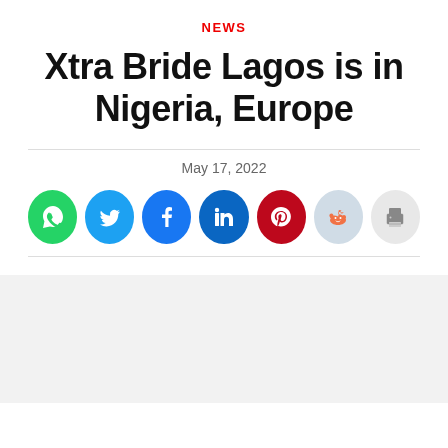NEWS
Xtra Bride Lagos is in Nigeria, Europe
May 17, 2022
[Figure (infographic): Social share buttons: WhatsApp (green), Twitter (blue), Facebook (dark blue), LinkedIn (dark blue), Pinterest (red), Reddit (light blue-gray), Print (light gray)]
[Figure (other): Light gray placeholder box at bottom of page]